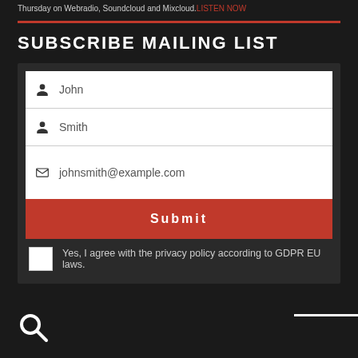Thursday on Webradio, Soundcloud and Mixcloud. LISTEN NOW
SUBSCRIBE MAILING LIST
[Figure (screenshot): Mailing list subscription form with fields for first name (John), last name (Smith), email (johnsmith@example.com), a red Submit button, and a GDPR checkbox agreement.]